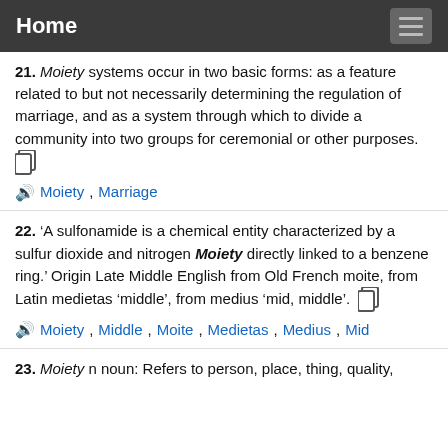Home
21. Moiety systems occur in two basic forms: as a feature related to but not necessarily determining the regulation of marriage, and as a system through which to divide a community into two groups for ceremonial or other purposes.
Moiety, Marriage
22. 'A sulfonamide is a chemical entity characterized by a sulfur dioxide and nitrogen Moiety directly linked to a benzene ring.' Origin Late Middle English from Old French moite, from Latin medietas 'middle', from medius 'mid, middle'.
Moiety, Middle, Moite, Medietas, Medius, Mid
23. Moiety n noun: Refers to person, place, thing, quality,